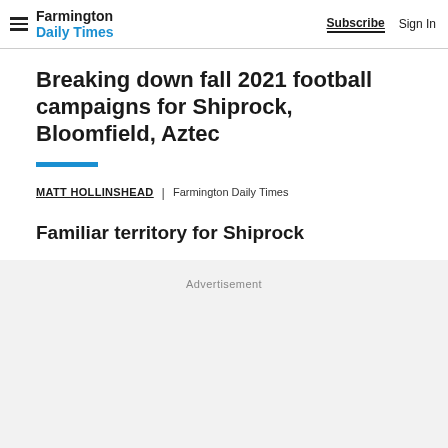Farmington Daily Times | Subscribe | Sign In
Breaking down fall 2021 football campaigns for Shiprock, Bloomfield, Aztec
MATT HOLLINSHEAD | Farmington Daily Times
Familiar territory for Shiprock
Advertisement